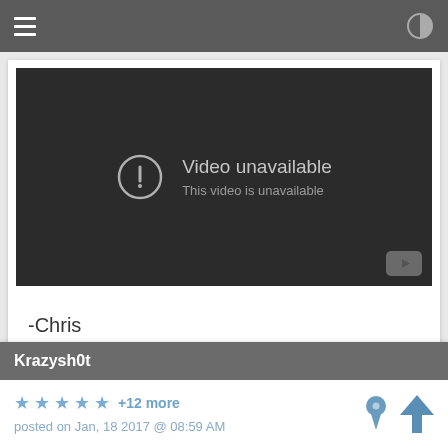[Figure (screenshot): Navigation bar with hamburger menu icon on the left and contrast/brightness icon on the right, dark gray background]
[Figure (screenshot): Video player showing 'Video unavailable - This video is unavailable' error message with warning icon on dark background, YouTube button at bottom right]
-Chris
Krazysh0t
★★★★★ +12 more
posted on Jan, 18 2017 @ 08:59 AM